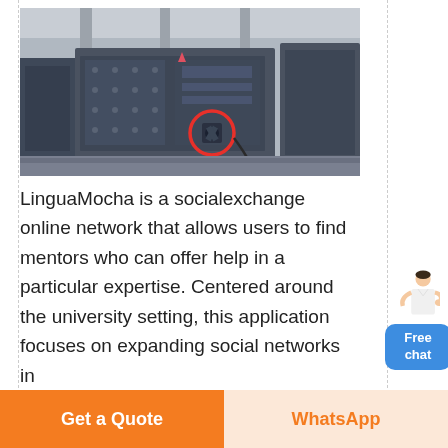[Figure (photo): Industrial impact crusher/hammer mill machines lined up in a factory warehouse. Heavy gray steel equipment with a red circle highlighting a mechanical component on the front panel.]
LinguaMocha is a socialexchange online network that allows users to find mentors who can offer help in a particular expertise. Centered around the university setting, this application focuses on expanding social networks in
[Figure (illustration): Person (woman in white) with hand extended, beside a blue 'Free chat' button widget.]
Get a Quote
WhatsApp